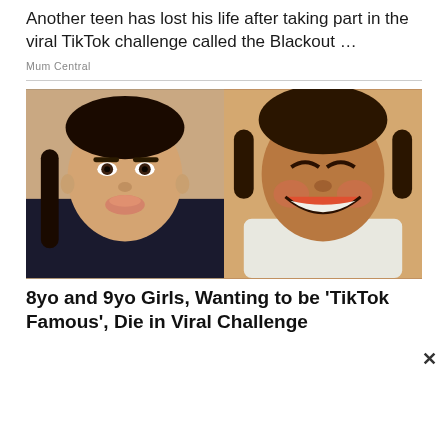Another teen has lost his life after taking part in the viral TikTok challenge called the Blackout …
Mum Central
[Figure (photo): Two photos side by side: left photo shows a teenage girl with braided hair making a pouty face; right photo shows a young smiling girl in a white top.]
8yo and 9yo Girls, Wanting to be 'TikTok Famous', Die in Viral Challenge